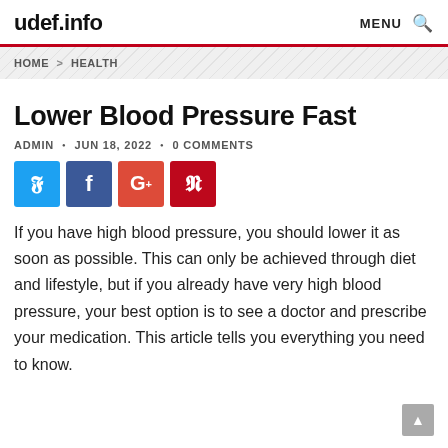udef.info   MENU 🔍
HOME > HEALTH
Lower Blood Pressure Fast
ADMIN • JUN 18, 2022 • 0 COMMENTS
[Figure (infographic): Social share buttons: Twitter (blue), Facebook (dark blue), Google+ (orange-red), Pinterest (red)]
If you have high blood pressure, you should lower it as soon as possible. This can only be achieved through diet and lifestyle, but if you already have very high blood pressure, your best option is to see a doctor and prescribe your medication. This article tells you everything you need to know.